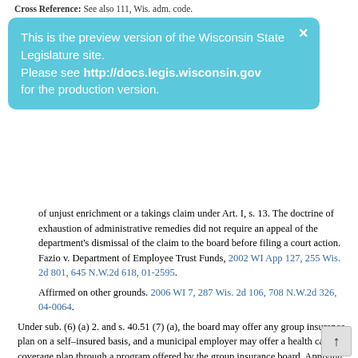Cross Reference: See also 111, Wis. adm. code.
The insurance subrogation law permitting a subrogated insurer to be...
[Figure (screenshot): Preview banner: 'This is the preview version of the Wisconsin State Legislature site. Please see http://docs.legis.wisconsin.gov for the production version.' with close X button, light blue background.]
of unjust enrichment or a takings claim under Art. I, s. 13. The doctrine of exhaustion of administrative remedies did not require an appeal of the department's dismissal of the claim to the board before filing a court action. Fazio v. Department of Employee Trust Funds, 2002 WI App 127, 255 Wis. 2d 801, 645 N.W.2d 618, 01-2595.
Affirmed on other grounds. 2006 WI 7, 287 Wis. 2d 106, 708 N.W.2d 326, 04-0064.
Under sub. (6) (a) 2. and s. 40.51 (7) (a), the board may offer any group insurance plan on a self–insured basis, and a municipal employer may offer a health care coverage plan through a program offered by the group insurance board. Applying these sections as written, a municipal employer may offer a self-insured plan if offered by the board. Article VIII, section 3 of the Wisconsin Constitution poses no bar because offering self-insured plans does not extend the state's credit. OAG 3-17.
40.04   Accounts and reserves.
(1)   The separate accounts and reserves under subs. (2) to (10) and any additional accounts and reserves determined by the department to be useful in achieving the fund's purposes, or